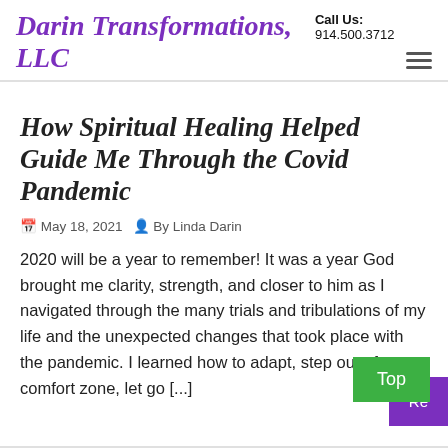Call Us: 914.500.3712
Darin Transformations, LLC
How Spiritual Healing Helped Guide Me Through the Covid Pandemic
May 18, 2021  By Linda Darin
2020 will be a year to remember! It was a year God brought me clarity, strength, and closer to him as I navigated through the many trials and tribulations of my life and the unexpected changes that took place with the pandemic. I learned how to adapt, step out of my comfort zone, let go [...]